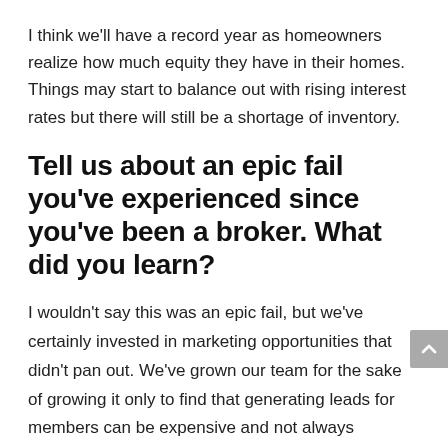I think we'll have a record year as homeowners realize how much equity they have in their homes. Things may start to balance out with rising interest rates but there will still be a shortage of inventory.
Tell us about an epic fail you've experienced since you've been a broker. What did you learn?
I wouldn't say this was an epic fail, but we've certainly invested in marketing opportunities that didn't pan out. We've grown our team for the sake of growing it only to find that generating leads for members can be expensive and not always profitable without the right people and systems in place.